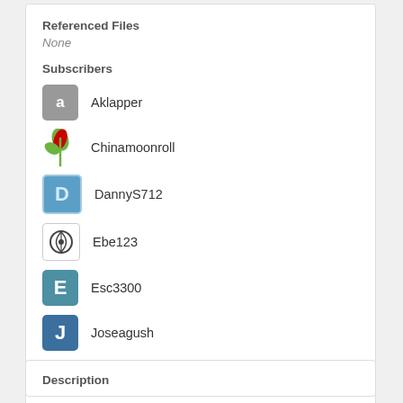Referenced Files
None
Subscribers
Aklapper
Chinamoonroll
DannyS712
Ebe123
Esc3300
Joseagush
kamholz
View All 14 Subscribers
Tokens
[Figure (illustration): Red heart token icon]
Description